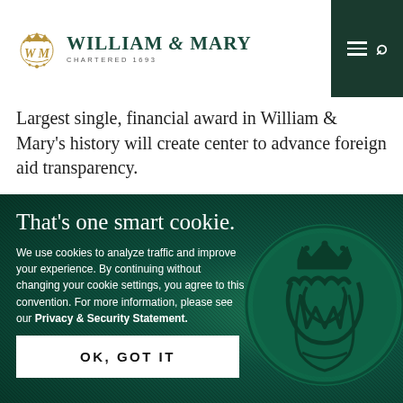[Figure (logo): William & Mary university logo with gold monogram and green text, Chartered 1693]
Largest single, financial award in William & Mary's history will create center to advance foreign aid transparency.
That’s one smart cookie.
We use cookies to analyze traffic and improve your experience. By continuing without changing your cookie settings, you agree to this convention. For more information, please see our Privacy & Security Statement.
[Figure (illustration): Green wax seal with William & Mary royal cypher monogram and crown]
OK, GOT IT